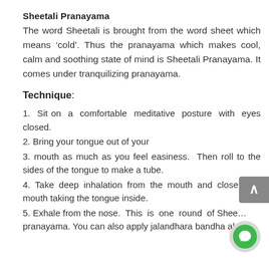Sheetali Pranayama
The word Sheetali is brought from the word sheet which means ‘cold’. Thus the pranayama which makes cool, calm and soothing state of mind is Sheetali Pranayama. It comes under tranquilizing pranayama.
Technique:
1. Sit on a comfortable meditative posture with eyes closed.
2. Bring your tongue out of your
3. mouth as much as you feel easiness. Then roll to the sides of the tongue to make a tube.
4. Take deep inhalation from the mouth and close your mouth taking the tongue inside.
5. Exhale from the nose. This is one round of Sh… pranayama. You can also apply jalandhara bandha along